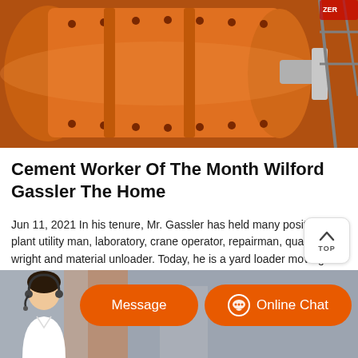[Figure (photo): Industrial orange cement mill cylinder/drum machine with bolts and metal fittings in a factory setting]
Cement Worker Of The Month Wilford Gassler The Home
Jun 11, 2021 In his tenure, Mr. Gassler has held many positions the plant utility man, laboratory, crane operator, repairman, quarry, mill wright and material unloader. Today, he is a yard loader moving masses of stone, gypsum, coke and all materials required to produce a
[Figure (photo): Customer service representative with headset, Message button and Online Chat button on orange banner]